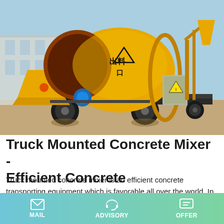[Figure (photo): Yellow truck mounted concrete mixer with rotating drum, hopper, and trailer wheels, photographed outdoors at a manufacturing site.]
Truck Mounted Concrete Mixer - Efficient Concrete
Truck mounted concrete mixer is an efficient concrete transporting equipment which is favorable all over the world. In Talenet Group, the mixer can cover general construction
MAIL  ADVISORY  OFFER